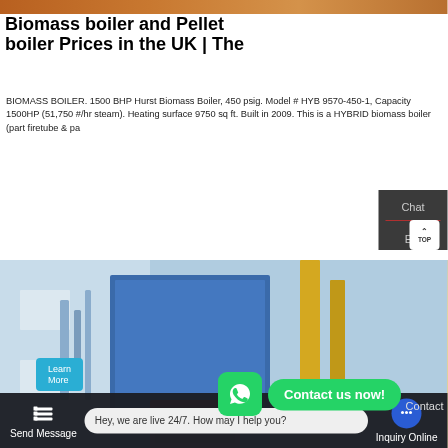[Figure (photo): Top orange/brown image strip at top of page, partial view of industrial equipment]
Biomass boiler and Pellet boiler Prices in the UK | The
BIOMASS BOILER. 1500 BHP Hurst Biomass Boiler, 450 psig. Model # HYB 9570-450-1, Capacity 1500HP (51,750 #/hr steam). Heating surface 9750 sq ft. Built in 2009. This is a HYBRID biomass boiler (part firetube & pa
Learn More
[Figure (photo): Industrial biomass boiler interior showing blue metal boiler unit, pipes, and yellow equipment]
Chat
Em
Contact us now!
Contact
Send Message
Hey, we are live 24/7. How may I help you?
Inquiry Online